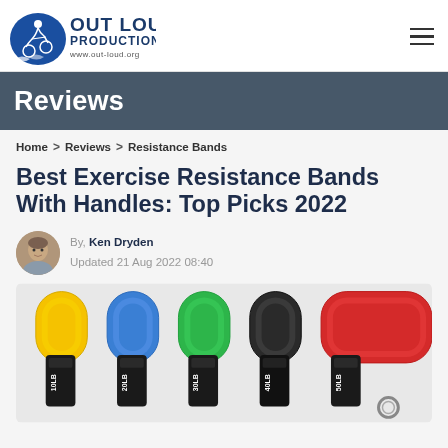OutLoud! Productions www.out-loud.org
Reviews
Home > Reviews > Resistance Bands
Best Exercise Resistance Bands With Handles: Top Picks 2022
By, Ken Dryden
Updated 21 Aug 2022 08:40
[Figure (photo): Colorful resistance bands in yellow, blue, green, black, and red coiled around handles labeled 10LB, 20LB, 30LB, 40LB, 50LB]